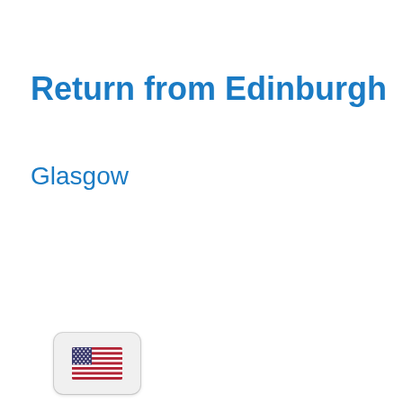Return from Edinburgh
Glasgow
[Figure (illustration): US flag emoji icon in a rounded rectangle button/badge at bottom left]